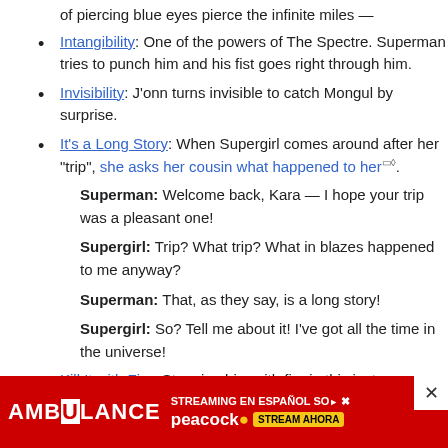of piercing blue eyes pierce the infinite miles —
Intangibility: One of the powers of The Spectre. Superman tries to punch him and his fist goes right through him.
Invisibility: J'onn turns invisible to catch Mongul by surprise.
It's a Long Story: When Supergirl comes around after her "trip", she asks her cousin what happened to her.
Superman: Welcome back, Kara — I hope your trip was a pleasant one!
Supergirl: Trip? What trip? What in blazes happened to me anyway?
Superman: That, as they say, is a long story!
Supergirl: So? Tell me about it! I've got all the time in the universe!
Kill It with Fire: Stopping him with fire in this instance.
[Figure (infographic): Advertisement banner for AMBULANCE streaming in Spanish on Peacock. Red background with white bold text reading AMBULANCE, subtitle STREAMING EN ESPAÑOL SO... and Peacock logo with STREAM AHORA button. Close (X) button in top right corner.]